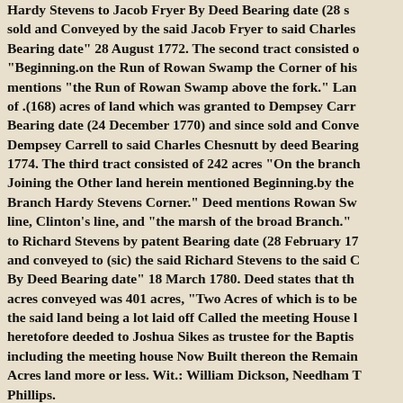Hardy Stevens to Jacob Fryer By Deed Bearing date (28 s sold and Conveyed by the said Jacob Fryer to said Charles Bearing date" 28 August 1772. The second tract consisted o "Beginning.on the Run of Rowan Swamp the Corner of his mentions "the Run of Rowan Swamp above the fork." Lan of .(168) acres of land which was granted to Dempsey Carr Bearing date (24 December 1770) and since sold and Conve Dempsey Carrell to said Charles Chesnutt by deed Bearing 1774. The third tract consisted of 242 acres "On the branch Joining the Other land herein mentioned Beginning.by the Branch Hardy Stevens Corner." Deed mentions Rowan Sw line, Clinton's line, and "the marsh of the broad Branch." to Richard Stevens by patent Bearing date (28 February 17 and conveyed to (sic) the said Richard Stevens to the said C By Deed Bearing date" 18 March 1780. Deed states that th acres conveyed was 401 acres, "Two Acres of which is to be the said land being a lot laid off Called the meeting House l heretofore deeded to Joshua Sikes as trustee for the Baptis including the meeting house Now Built thereon the Remain Acres land more or less. Wit.: William Dickson, Needham T Phillips.
Deed Book 9 page 85 Deed: Charles Murphrey and Sarah M Jacob Chesnutt. Dated:6 March 1792. Trans.: 110 pounds State of North Carolina" for 240 acres "On the Head of Ro at a Large pine the North side of the main prong of said sw